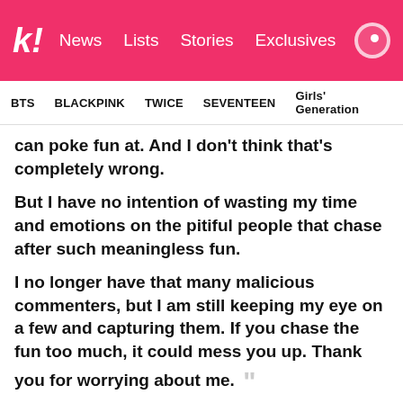k! News Lists Stories Exclusives
BTS BLACKPINK TWICE SEVENTEEN Girls' Generation
can poke fun at. And I don't think that's completely wrong.
But I have no intention of wasting my time and emotions on the pitiful people that chase after such meaningless fun.
I no longer have that many malicious commenters, but I am still keeping my eye on a few and capturing them. If you chase the fun too much, it could mess you up. Thank you for worrying about me. ””
– Han Seungveon